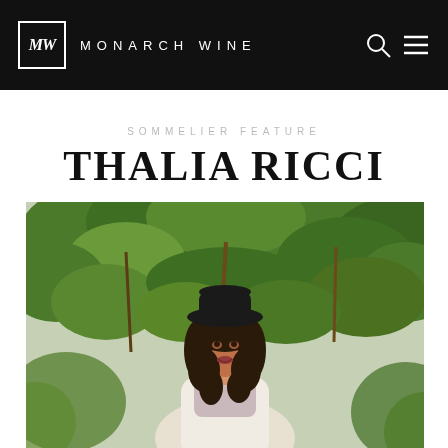MONARCH WINE
SOMMELIER FEATURE
THALIA RICCI
[Figure (photo): Portrait photo of Thalia Ricci, a young woman with long dark curly hair wearing a black wide-brim hat and white knit cardigan, photographed outdoors in front of lush green leafy foliage.]